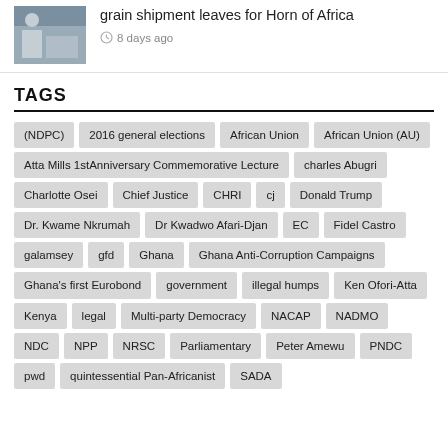grain shipment leaves for Horn of Africa — 8 days ago
TAGS
(NDPC)
2016 general elections
African Union
African Union (AU)
Atta Mills 1stAnniversary Commemorative Lecture
charles Abugri
Charlotte Osei
Chief Justice
CHRI
cj
Donald Trump
Dr. Kwame Nkrumah
Dr Kwadwo Afari-Djan
EC
Fidel Castro
galamsey
gfd
Ghana
Ghana Anti-Corruption Campaigns
Ghana's first Eurobond
government
illegal humps
Ken Ofori-Atta
Kenya
legal
Multi-party Democracy
NACAP
NADMO
NDC
NPP
NRSC
Parliamentary
Peter Amewu
PNDC
pwd
quintessential Pan-Africanist
SADA